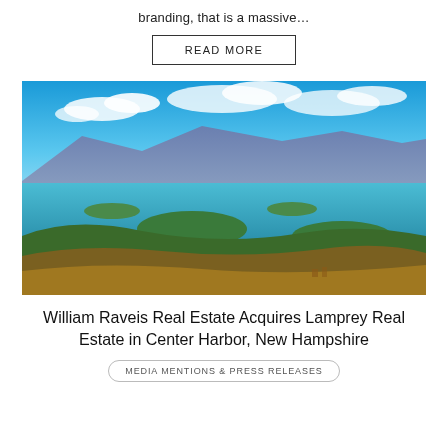branding, that is a massive…
READ MORE
[Figure (photo): Aerial panoramic view of a large lake with forested islands, mountains in the background, and a bright blue sky with clouds — likely Lake Winnipesaukee in New Hampshire.]
William Raveis Real Estate Acquires Lamprey Real Estate in Center Harbor, New Hampshire
MEDIA MENTIONS & PRESS RELEASES